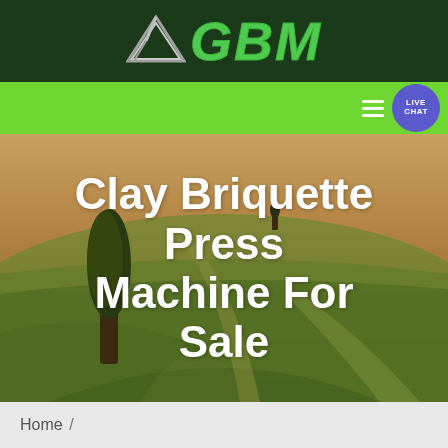GBM logo with navigation bar
[Figure (logo): GBM company logo with green arrow/mountain icon and green GBM text on dark green background, with green navigation bar and blue live chat button]
Clay Briquette Press Machine For Sale
Home /